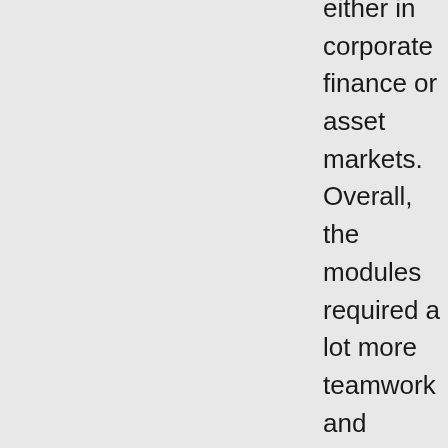either in corporate finance or asset markets. Overall, the modules required a lot more teamwork and presentations than at IES. It was truly enlightening to work in a team